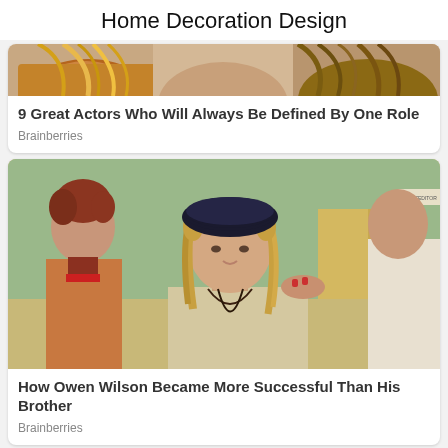Home Decoration Design
[Figure (photo): Partial cropped image showing tops of people's heads with hair]
9 Great Actors Who Will Always Be Defined By One Role
Brainberries
[Figure (photo): Movie still showing Owen Wilson wearing a dark beret with a woman in period costume to his left and another figure to his right]
How Owen Wilson Became More Successful Than His Brother
Brainberries